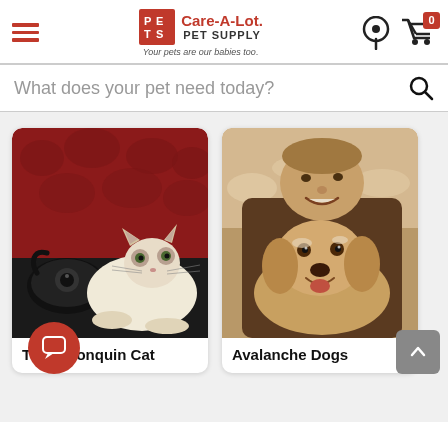Care-A-Lot Pet Supply — Your pets are our babies too.
What does your pet need today?
[Figure (photo): A fluffy Birman or Ragdoll cat lying beside a vintage rotary telephone on a dark surface, with red tufted background]
The Algonquin Cat
[Figure (photo): Sepia-toned photo of a smiling man hugging a golden retriever dog outdoors in the snow]
Avalanche Dogs